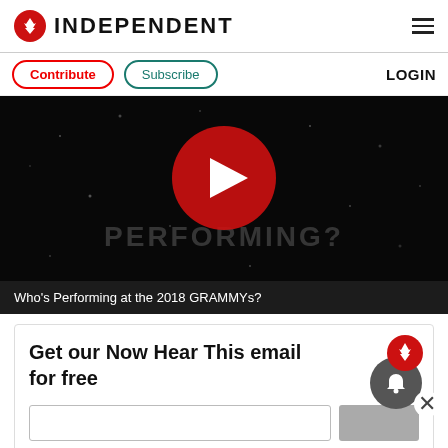INDEPENDENT
Contribute  Subscribe  LOGIN
[Figure (screenshot): Video thumbnail with dark background, large red play button, and text 'PERFORMING?' partially visible]
Who's Performing at the 2018 GRAMMYs?
Get our Now Hear This email for free